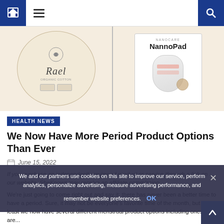Navigation bar with home, menu, and search icons
[Figure (photo): Hero image showing two period products side by side: Rael (organic cotton pad box, round, beige background) and NannoPad (white box with pad illustration), separated by a vertical divider on a cream/beige background.]
HEALTH NEWS
We Now Have More Period Product Options Than Ever
June 15, 2022
If you purchase an independently reviewed product or service through a link on our website, SheKnows may receive an affiliate commission.
We're just going to come right out and say it: there has never been a better time to have a period. Sure, it may not be everyone's favorite time of the month, but at least we now have several different menstrual product options including ones that are...
We and our partners use cookies on this site to improve our service, perform analytics, personalize advertising, measure advertising performance, and remember website preferences.